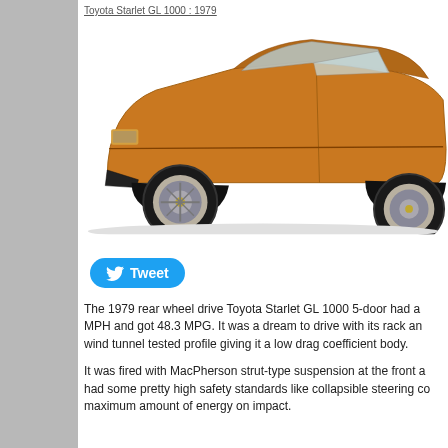Toyota Starlet GL 1000 : 1979
[Figure (photo): Side profile photo of a 1979 Toyota Starlet GL 1000 5-door in orange/amber color on a white background, showing the front-left quarter view with the wheel and body detail visible.]
Tweet
The 1979 rear wheel drive Toyota Starlet GL 1000 5-door had a ... MPH and got 48.3 MPG. It was a dream to drive with its rack an... wind tunnel tested profile giving it a low drag coefficient body.
It was fired with MacPherson strut-type suspension at the front a... had some pretty high safety standards like collapsible steering co... maximum amount of energy on impact.